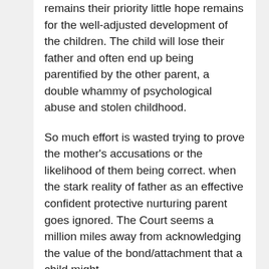remains their priority little hope remains for the well-adjusted development of the children. The child will lose their father and often end up being parentified by the other parent, a double whammy of psychological abuse and stolen childhood.
So much effort is wasted trying to prove the mother's accusations or the likelihood of them being correct. when the stark reality of father as an effective confident protective nurturing parent goes ignored. The Court seems a million miles away from acknowledging the value of the bond/attachment that a child might